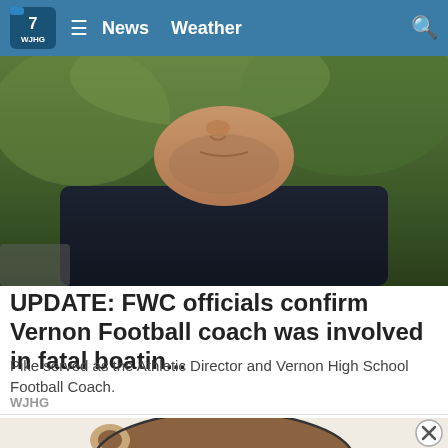WJHG  ≡  News  Weather  🔍
[Figure (photo): Close-up photo of a man wearing a dark navy/black t-shirt, outdoors with blurred green trees in background. The lower half of his face and neck are visible.]
UPDATE: FWC officials confirm Vernon Football coach was involved in fatal boatin...
Pike served as the Athletic Director and Vernon High School Football Coach.
WJHG
[Figure (illustration): Cartoon illustration of a brown animated character (appears to be a bear or similar animal) with a rounded head, shown from behind/side angle, with a small ear visible.]